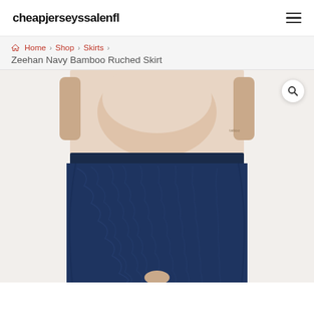cheapjerseyssalenfl
Home › Shop › Skirts ›
Zeehan Navy Bamboo Ruched Skirt
[Figure (photo): A model wearing a navy blue bamboo ruched skirt with a beige/nude top. The skirt is fitted and ruched along the sides. The photo is cropped to show the torso and skirt only, with a white background.]